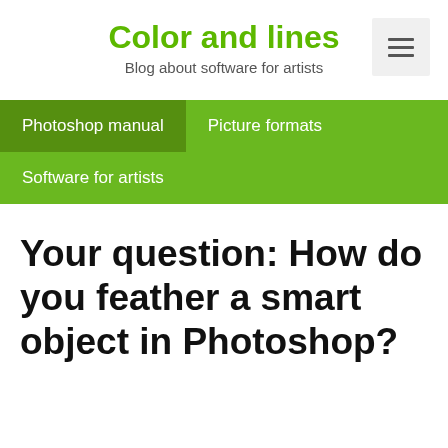Color and lines
Blog about software for artists
[Figure (other): Hamburger menu button icon with three horizontal lines]
Photoshop manual
Picture formats
Software for artists
Your question: How do you feather a smart object in Photoshop?